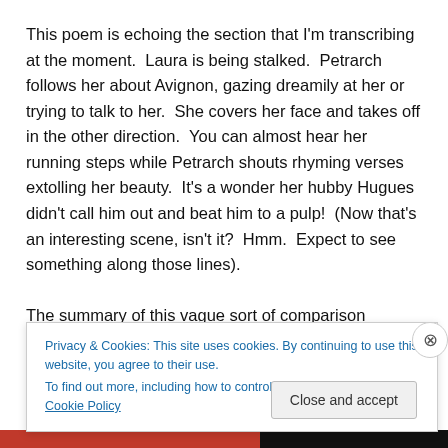This poem is echoing the section that I'm transcribing at the moment.  Laura is being stalked.  Petrarch follows her about Avignon, gazing dreamily at her or trying to talk to her.  She covers her face and takes off in the other direction.  You can almost hear her running steps while Petrarch shouts rhyming verses extolling her beauty.  It's a wonder her hubby Hugues didn't call him out and beat him to a pulp!  (Now that's an interesting scene, isn't it?  Hmm.  Expect to see something along those lines).
The summary of this vague sort of comparison between
Privacy & Cookies: This site uses cookies. By continuing to use this website, you agree to their use.
To find out more, including how to control cookies, see here: Cookie Policy
Close and accept